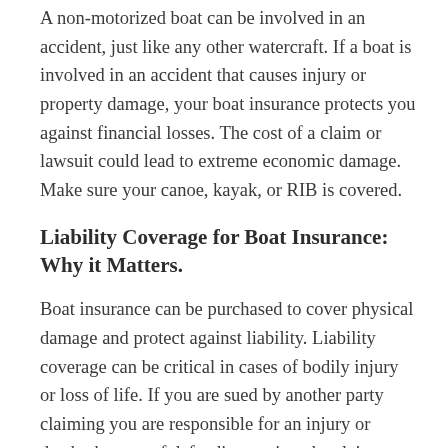A non-motorized boat can be involved in an accident, just like any other watercraft. If a boat is involved in an accident that causes injury or property damage, your boat insurance protects you against financial losses. The cost of a claim or lawsuit could lead to extreme economic damage. Make sure your canoe, kayak, or RIB is covered.
Liability Coverage for Boat Insurance: Why it Matters.
Boat insurance can be purchased to cover physical damage and protect against liability. Liability coverage can be critical in cases of bodily injury or loss of life. If you are sued by another party claiming you are responsible for an injury or death, the cost of defending against the claim can be paid through your policy.
If you do not have sufficient liability coverage in place, you can lose your personal assets, including retirement funds, investment funds, or the value of your property. You have worked to accrue assets that could be lost in a lawsuit,